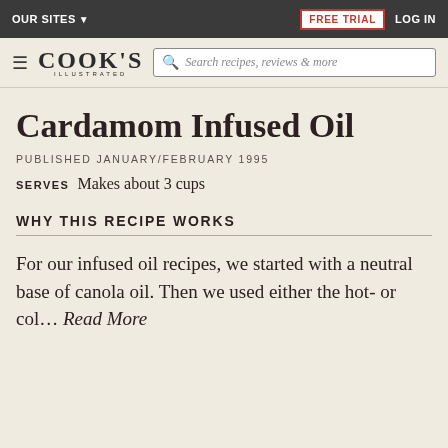OUR SITES ▾   FREE TRIAL   LOG IN
COOK'S ILLUSTRATED  Search recipes, reviews & more
Cardamom Infused Oil
PUBLISHED JANUARY/FEBRUARY 1995
SERVES  Makes about 3 cups
WHY THIS RECIPE WORKS
For our infused oil recipes, we started with a neutral base of canola oil. Then we used either the hot- or col... Read More